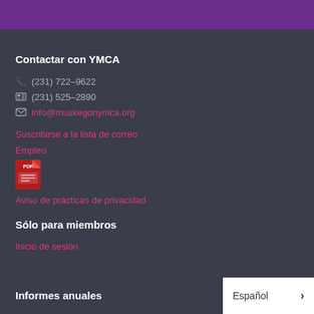Contactar con YMCA
(231) 722-9622
(231) 525-2890
info@muskegonymca.org
Suscribirse a la lista de correo
Empleo
[Figure (other): PDF file icon]
Aviso de prácticas de privacidad
Sólo para miembros
Inicio de sesión
Informes anuales
Español